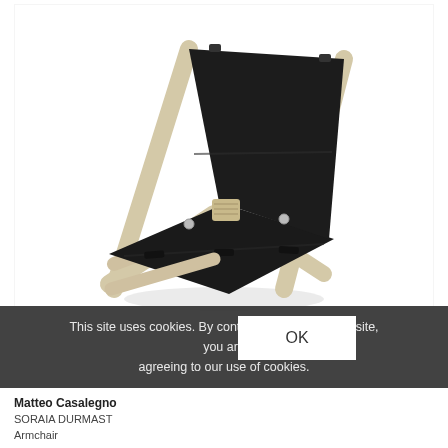[Figure (photo): A folding armchair with a pale wood frame and dark black leather sling seat/back, photographed against a white background. The chair has an X-frame structure with the leather slung between the wooden supports.]
This site uses cookies. By continuing to browse the site, you are agreeing to our use of cookies.
OK
Matteo Casalegno
SORAlA DURMAST
Armchair